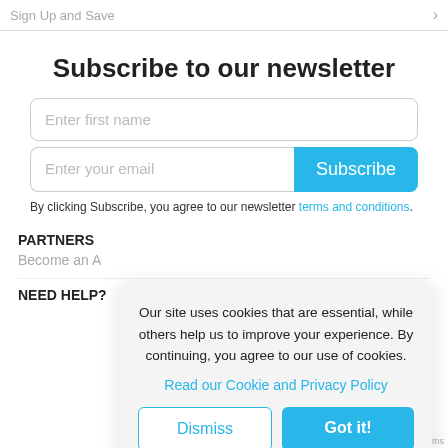Sign Up and Save
Subscribe to our newsletter
Enter first name
Enter your email
By clicking Subscribe, you agree to our newsletter terms and conditions.
PARTNERS
Become an A
NEED HELP?
Our site uses cookies that are essential, while others help us to improve your experience. By continuing, you agree to our use of cookies.
Read our Cookie and Privacy Policy
Dismiss
Got it!